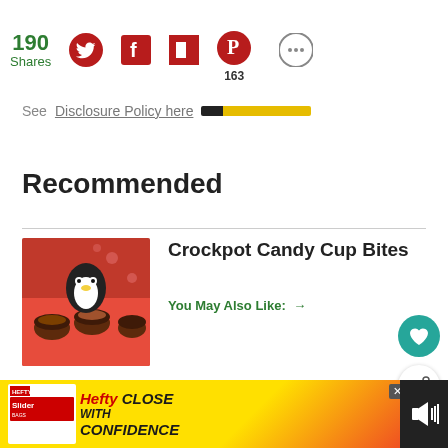190 Shares | Social share icons: Twitter, Facebook, Flipboard, Pinterest (163), More
See Disclosure Policy here
Recommended
[Figure (photo): Photo of Crockpot Candy Cup Bites — chocolate cups arranged on a table with holiday decorations]
Crockpot Candy Cup Bites
You May Also Like: →
[Figure (photo): Photo of A Variety of Homemade Chocolate Candies — similar holiday chocolate treats]
A Variety of Homemade Chocolate Candies
[Figure (photo): WHAT'S NEXT banner with thumbnail of Homemade Torrone Itali...]
WHAT'S NEXT → Homemade Torrone Itali...
[Figure (screenshot): Hefty Slider bags advertisement — HEFTY CLOSE WITH CONFIDENCE banner ad]